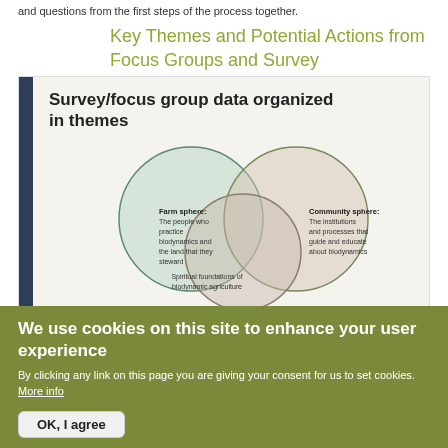and questions from the first steps of the process together.
Key Themes and Potential Actions from Focus Groups and Survey
[Figure (infographic): Venn diagram showing three overlapping circles titled 'Survey/focus group data organized in themes'. Left circle: 'Farm sphere: The people who practice biodynamics and the land that they steward'. Right circle: 'Community sphere: The institutions and processes that guide and educate about biodynamics'. Bottom overlap: 'Spiritual foundations of biodynamic agriculture'.]
We use cookies on this site to enhance your user experience
By clicking any link on this page you are giving your consent for us to set cookies. More info
OK, I agree